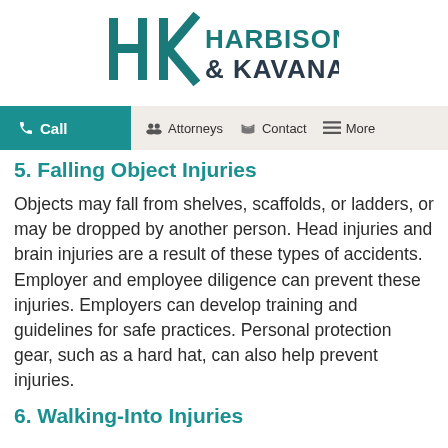[Figure (logo): Harbison & Kavanagh law firm logo with stylized HK letters in dark teal and firm name text]
[Figure (screenshot): Navigation bar with Call (teal background), Attorneys, Contact, More items on beige background]
5. Falling Object Injuries
Objects may fall from shelves, scaffolds, or ladders, or may be dropped by another person. Head injuries and brain injuries are a result of these types of accidents. Employer and employee diligence can prevent these injuries. Employers can develop training and guidelines for safe practices. Personal protection gear, such as a hard hat, can also help prevent injuries.
6. Walking-Into Injuries